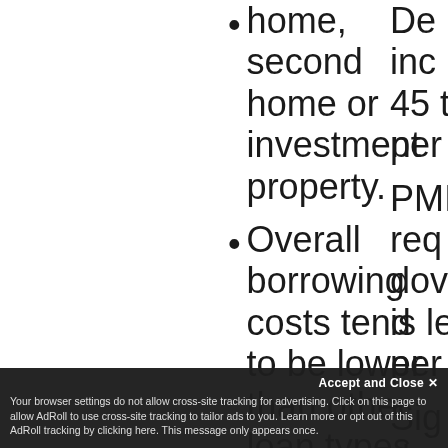home, second home or investment property.
Overall borrowing costs tend to be lower than other loan types.
PMI is cancellable once you've reached 20 percent
Debt-to-income ratio: 45 t... per...
PMI req... dow... is le... per...
Sig... doc... req... ver... pay...
Your browser settings do not allow cross-site tracking for advertising. Click on this page to allow AdRoll to use cross-site tracking to tailor ads to you. Learn more or opt out of this AdRoll tracking by clicking here. This message only appears once.